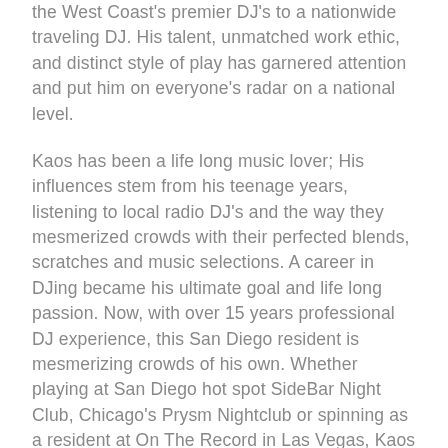the West Coast's premier DJ's to a nationwide traveling DJ. His talent, unmatched work ethic, and distinct style of play has garnered attention and put him on everyone's radar on a national level.
Kaos has been a life long music lover; His influences stem from his teenage years, listening to local radio DJ's and the way they mesmerized crowds with their perfected blends, scratches and music selections. A career in DJing became his ultimate goal and life long passion. Now, with over 15 years professional DJ experience, this San Diego resident is mesmerizing crowds of his own. Whether playing at San Diego hot spot SideBar Night Club, Chicago's Prysm Nightclub or spinning as a resident at On The Record in Las Vegas, Kaos delivers quality performances every time.
In the Summer of 2018, DJ Kaos became the weekly on-air host of The Roster Radio on Pitbull's Globalization radio station on